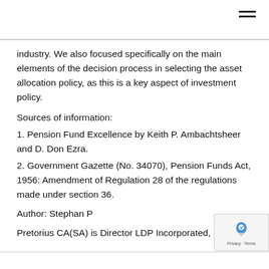industry. We also focused specifically on the main elements of the decision process in selecting the asset allocation policy, as this is a key aspect of investment policy.
Sources of information:
1. Pension Fund Excellence by Keith P. Ambachtsheer and D. Don Ezra.
2. Government Gazette (No. 34070), Pension Funds Act, 1956: Amendment of Regulation 28 of the regulations made under section 36.
Author: Stephan P
Pretorius CA(SA) is Director LDP Incorporated, Stellenbosch.